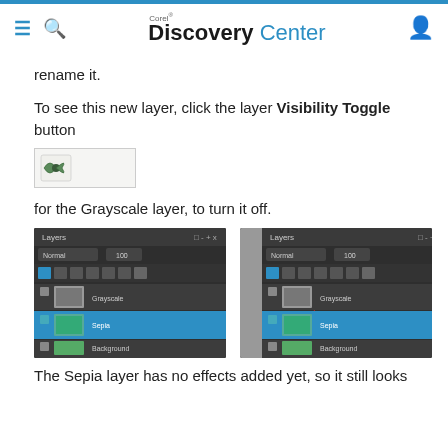Corel Discovery Center
rename it.
To see this new layer, click the layer Visibility Toggle button
[Figure (screenshot): Small inline screenshot of a visibility toggle button icon]
for the Grayscale layer, to turn it off.
[Figure (screenshot): Two side-by-side screenshots of the Layers panel in Corel software showing Grayscale, Sepia (selected in blue), and Background layers. The right screenshot has a red arrow pointing to the visibility toggle on the Grayscale layer.]
The Sepia layer has no effects added yet, so it still looks